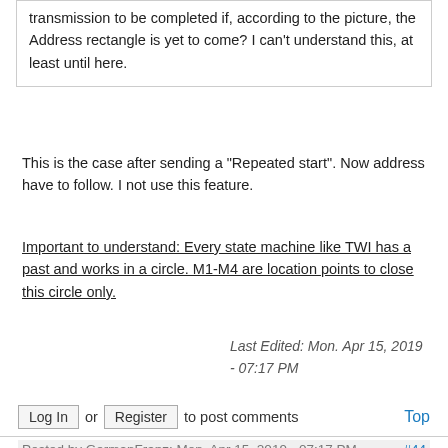transmission to be completed if, according to the picture, the Address rectangle is yet to come? I can't understand this, at least until here.
This is the case after sending a "Repeated start". Now address have to follow. I not use this feature.
Important to understand: Every state machine like TWI has a past and works in a circle. M1-M4 are location points to close this circle only.
Last Edited: Mon. Apr 15, 2019 - 07:17 PM
Log In or Register to post comments Top
Posted by GermanFranz: Mon. Apr 15, 2019 - 07:17 PM #44
Have look right side Fig.24-13 again: As part of TWI MASTER INTERRUPT there are 2 interrupts you should activate: Master-Write Interrupt (MWI) and Master-Read Interrupt (MRI). All data transfers can be performed inside these Interrupts without the involvement of the main program! Instead of manual polling WIF / RIF this improves the software efficiency dramatically. Main